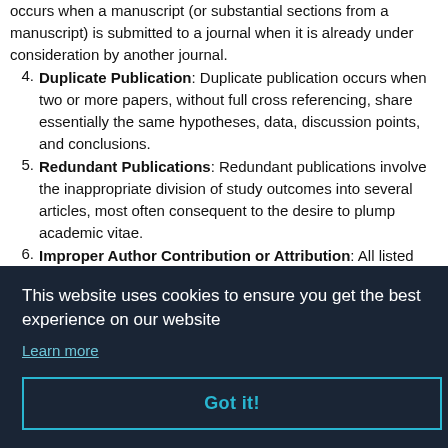occurs when a manuscript (or substantial sections from a manuscript) is submitted to a journal when it is already under consideration by another journal.
Duplicate Publication: Duplicate publication occurs when two or more papers, without full cross referencing, share essentially the same hypotheses, data, discussion points, and conclusions.
Redundant Publications: Redundant publications involve the inappropriate division of study outcomes into several articles, most often consequent to the desire to plump academic vitae.
Improper Author Contribution or Attribution: All listed authors must have made a significant scientific
of the specific work and journal in which it appears
This website uses cookies to ensure you get the best experience on our website
Learn more
Got it!